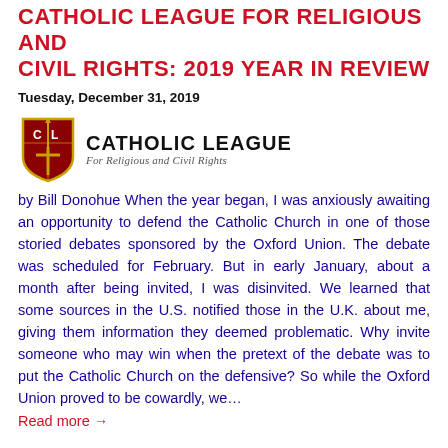CATHOLIC LEAGUE FOR RELIGIOUS AND CIVIL RIGHTS: 2019 YEAR IN REVIEW
Tuesday, December 31, 2019
[Figure (logo): Catholic League shield logo with 'CL' initials in red and gold, alongside text 'CATHOLIC LEAGUE For Religious and Civil Rights']
by Bill Donohue When the year began, I was anxiously awaiting an opportunity to defend the Catholic Church in one of those storied debates sponsored by the Oxford Union. The debate was scheduled for February. But in early January, about a month after being invited, I was disinvited. We learned that some sources in the U.S. notified those in the U.K. about me, giving them information they deemed problematic. Why invite someone who may win when the pretext of the debate was to put the Catholic Church on the defensive? So while the Oxford Union proved to be cowardly, we…
Read more →